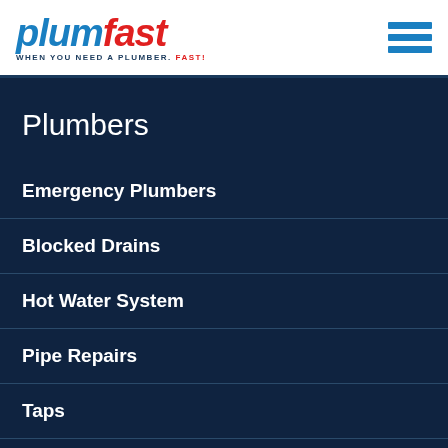[Figure (logo): Plumfast logo with tagline 'WHEN YOU NEED A PLUMBER. FAST!' and hamburger menu icon]
Plumbers
Emergency Plumbers
Blocked Drains
Hot Water System
Pipe Repairs
Taps